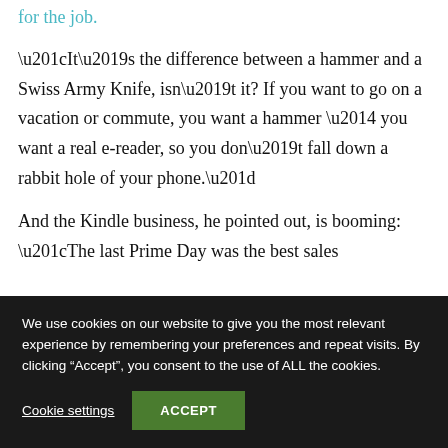for the job.
“It’s the difference between a hammer and a Swiss Army Knife, isn’t it? If you want to go on a vacation or commute, you want a hammer — you want a real e-reader, so you don’t fall down a rabbit hole of your phone.”
And the Kindle business, he pointed out, is booming: “The last Prime Day was the best sales
We use cookies on our website to give you the most relevant experience by remembering your preferences and repeat visits. By clicking “Accept”, you consent to the use of ALL the cookies.
Cookie settings
ACCEPT